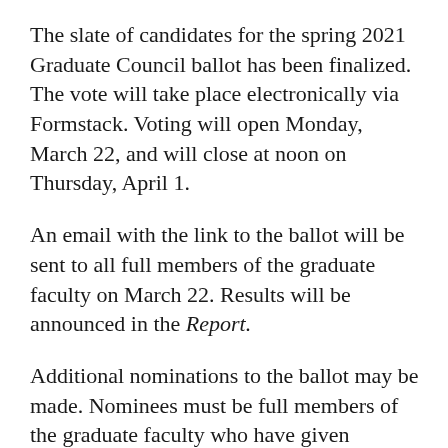The slate of candidates for the spring 2021 Graduate Council ballot has been finalized. The vote will take place electronically via Formstack. Voting will open Monday, March 22, and will close at noon on Thursday, April 1.
An email with the link to the ballot will be sent to all full members of the graduate faculty on March 22. Results will be announced in the Report.
Additional nominations to the ballot may be made. Nominees must be full members of the graduate faculty who have given consent. For the nominee to appear on the ballot, forward a current vita for the nominee along with 10 signatures of full graduate faculty to Kim Shennett at keshenne@ilstu.edu no later than 4:30 p.m. March 16. One year must lapse between the expiration of an elected Graduate